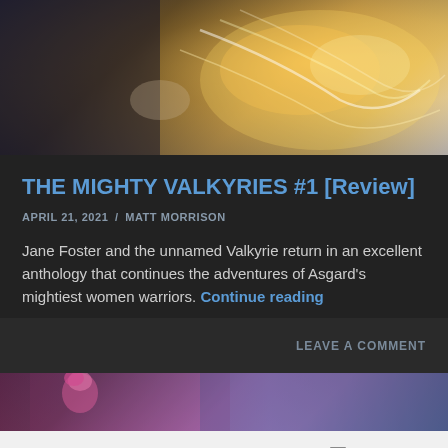[Figure (photo): Comic book artwork showing glowing energy/lightning effects with warm golden light, partial view of characters]
THE MIGHTY VALKYRIES #1 [Review]
APRIL 21, 2021 / MATT MORRISON
Jane Foster and the unnamed Valkyrie return in an excellent anthology that continues the adventures of Asgard’s mightiest women warriors. Continue reading
LEAVE A COMMENT
[Figure (photo): Comic book artwork showing a female character with pink hair and purple costume]
Follow